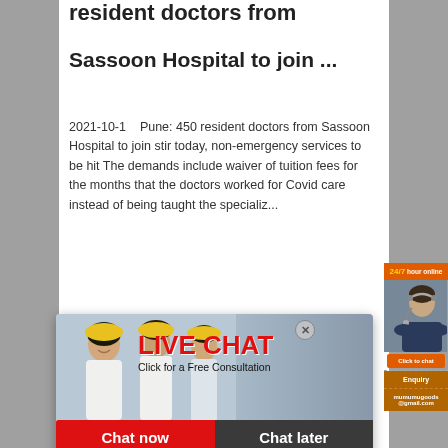resident doctors from
Sassoon Hospital to join ...
2021-10-1    Pune: 450 resident doctors from Sassoon Hospital to join stir today, non-emergency services to be hit The demands include waiver of tuition fees for the months that the doctors worked for Covid care instead of being taught the specialization...
[Figure (screenshot): Live chat popup with workers in hard hats and 'LIVE CHAT / Click for a Free Consultation' text, Chat now and Chat later buttons, and Email contact option]
[Figure (screenshot): Right sidebar widget showing 24/7 hour online with agent photo, Click to chat button, Enquiry section, and mumumugoods@gmail.com email]
<< Previous:
Bois Calculateur De Broyage